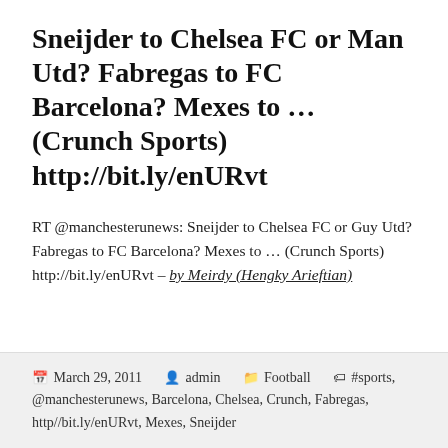Sneijder to Chelsea FC or Man Utd? Fabregas to FC Barcelona? Mexes to … (Crunch Sports) http://bit.ly/enURvt
RT @manchesterunews: Sneijder to Chelsea FC or Guy Utd? Fabregas to FC Barcelona? Mexes to … (Crunch Sports) http://bit.ly/enURvt – by Meirdy (Hengky Arieftian)
March 29, 2011  admin  Football  #sports, @manchesterunews, Barcelona, Chelsea, Crunch, Fabregas, http//bit.ly/enURvt, Mexes, Sneijder